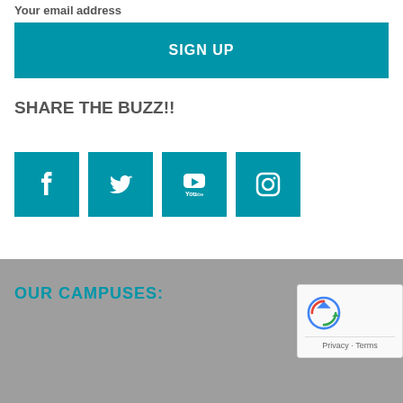Your email address
SIGN UP
SHARE THE BUZZ!!
[Figure (other): Social media icons: Facebook, Twitter, YouTube, Instagram — teal square buttons]
OUR CAMPUSES:
[Figure (other): reCAPTCHA privacy badge with spinning arrows logo and Privacy · Terms links]